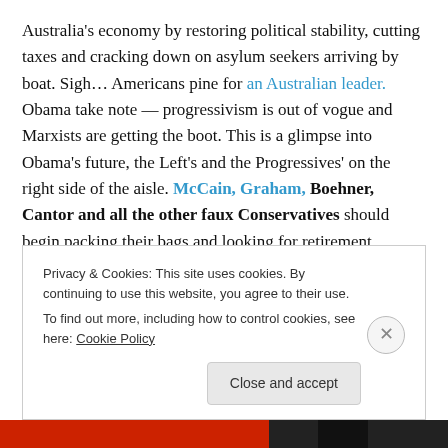Australia's economy by restoring political stability, cutting taxes and cracking down on asylum seekers arriving by boat. Sigh… Americans pine for an Australian leader. Obama take note — progressivism is out of vogue and Marxists are getting the boot. This is a glimpse into Obama's future, the Left's and the Progressives' on the right side of the aisle. McCain, Graham, Boehner, Cantor and all the other faux Conservatives should begin packing their bags and looking for retirement venues.
Privacy & Cookies: This site uses cookies. By continuing to use this website, you agree to their use. To find out more, including how to control cookies, see here: Cookie Policy